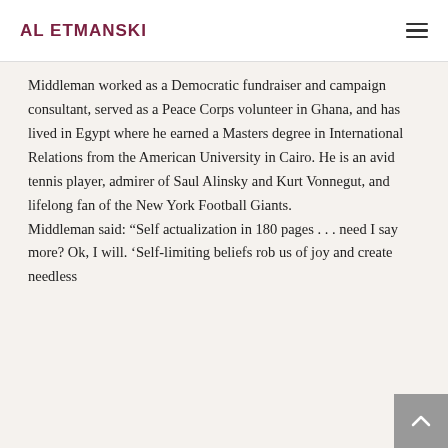AL ETMANSKI
Middleman worked as a Democratic fundraiser and campaign consultant, served as a Peace Corps volunteer in Ghana, and has lived in Egypt where he earned a Masters degree in International Relations from the American University in Cairo. He is an avid tennis player, admirer of Saul Alinsky and Kurt Vonnegut, and lifelong fan of the New York Football Giants.
Middleman said: “Self actualization in 180 pages . . . need I say more? Ok, I will. ‘Self-limiting beliefs rob us of joy and create needless suffering. Being as intent on the success as achieving it...